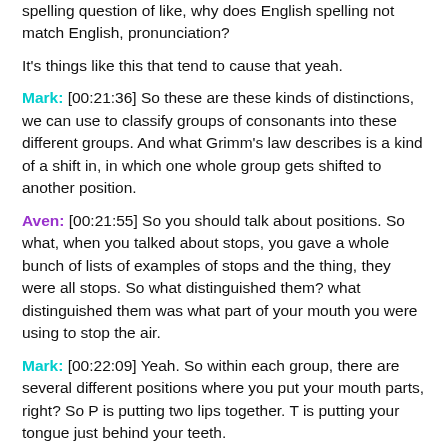spelling question of like, why does English spelling not match English, pronunciation?
It's things like this that tend to cause that yeah.
Mark: [00:21:36] So these are these kinds of distinctions, we can use to classify groups of consonants into these different groups. And what Grimm's law describes is a kind of a shift in, in which one whole group gets shifted to another position.
Aven: [00:21:55] So you should talk about positions. So what, when you talked about stops, you gave a whole bunch of lists of examples of stops and the thing, they were all stops. So what distinguished them? what distinguished them was what part of your mouth you were using to stop the air.
Mark: [00:22:09] Yeah. So within each group, there are several different positions where you put your mouth parts, right? So P is putting two lips together. T is putting your tongue just behind your teeth.
So what happened? What Grimm's law does is it explains a sound change in which a whole set of consonant sounds shifts as kind of as a group to a different manner of articulation. So the stops, the unvoiced stops, those stops become fricatives. You keep the same place of articulation, right? So the T and T H